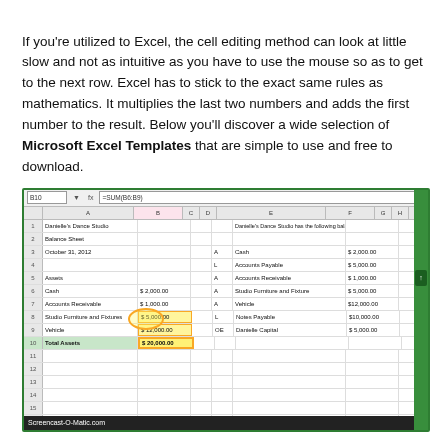If you're utilized to Excel, the cell editing method can look at little slow and not as intuitive as you have to use the mouse so as to get to the next row. Excel has to stick to the exact same rules as mathematics. It multiplies the last two numbers and adds the first number to the result. Below you'll discover a wide selection of Microsoft Excel Templates that are simple to use and free to download.
[Figure (screenshot): Screenshot of Microsoft Excel showing Danielle's Dance Studio balance sheet with SUM formula in cell B10. The spreadsheet shows assets including Cash $2,000.00, Accounts Receivable $1,000.00, Studio Furniture and Fixtures $5,000.00, Vehicle $12,000.00 (highlighted), Total Assets $20,000.00. Right side shows balances as of Oct 31, 2012 with Accounts Payable $5,000.00, Accounts Receivable $1,000.00, Studio Furniture and Fixtures $5,000.00, Vehicle $12,000.00, Notes Payable $10,000.00, Danielle Capital $5,000.00. Yellow circle highlights cell B9.]